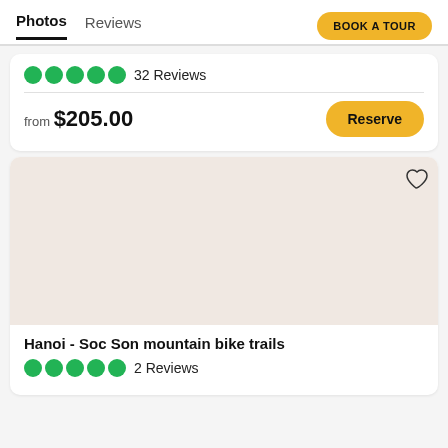Photos  Reviews  BOOK A TOUR
32 Reviews
from $205.00
Reserve
[Figure (photo): Placeholder image area with beige/cream background for tour listing photo]
Hanoi - Soc Son mountain bike trails
2 Reviews